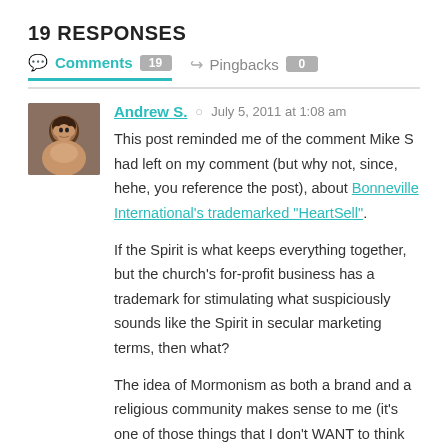19 RESPONSES
Comments 19   Pingbacks 0
Andrew S.  July 5, 2011 at 1:08 am
This post reminded me of the comment Mike S had left on my comment (but why not, since, hehe, you reference the post), about Bonneville International's trademarked “HeartSell”.

If the Spirit is what keeps everything together, but the church's for-profit business has a trademark for stimulating what suspiciously sounds like the Spirit in secular marketing terms, then what?

The idea of Mormonism as both a brand and a religious community makes sense to me (it's one of those things that I don't WANT to think about, but thinking about it makes me realize that it was most sensible all along), and it reminds me of